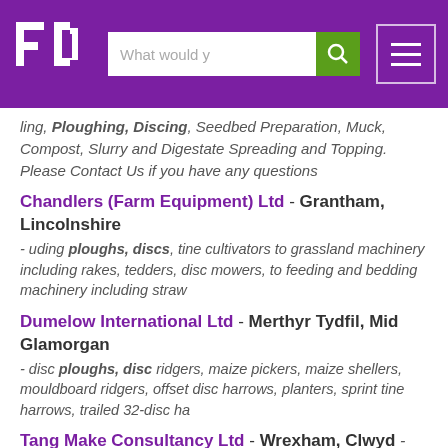[Figure (logo): FD logo in white on purple background with search bar and hamburger menu]
ling, Ploughing, Discing, Seedbed Preparation, Muck, Compost, Slurry and Digestate Spreading and Topping. Please Contact Us if you have any questions
Chandlers (Farm Equipment) Ltd - Grantham, Lincolnshire - uding ploughs, discs, tine cultivators to grassland machinery including rakes, tedders, disc mowers, to feeding and bedding machinery including straw
Dumelow International Ltd - Merthyr Tydfil, Mid Glamorgan - disc ploughs, disc ridgers, maize pickers, maize shellers, mouldboard ridgers, offset disc harrows, planters, sprint tine harrows, trailed 32-disc ha
Tang Make Consultancy Ltd - Wrexham, Clwyd - arrow Plough Disc Plough Plough Mounted Mould Board Plough Potato Planter Potato Digger Tiller Power Tiller Tiller Rotary Tiller Tiller Springloaded T...roads Plough Disc Plough It is used